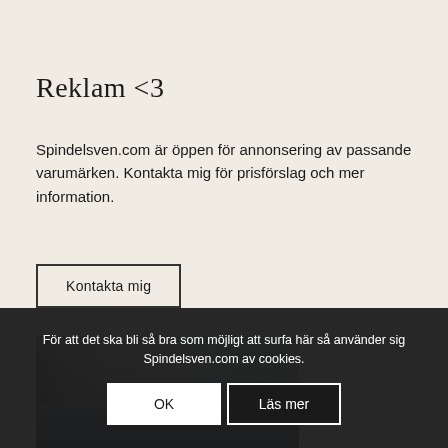Reklam <3
Spindelsven.com är öppen för annonsering av passande varumärken. Kontakta mig för prisförslag och mer information.
Kontakta mig
[Figure (photo): Photo of a shopping mall or store interior with a hand holding a small blue/teal device, shelves and colorful products visible]
För att det ska bli så bra som möjligt att surfa här så använder sig Spindelsven.com av cookies.
OK
Läs mer